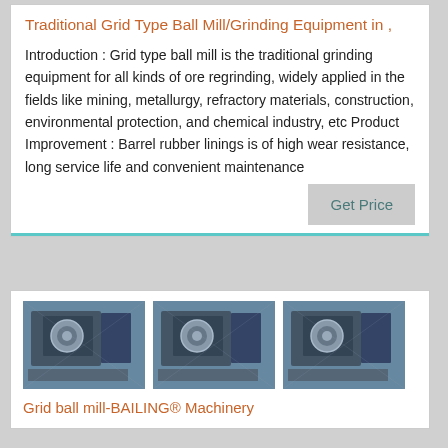Traditional Grid Type Ball Mill/Grinding Equipment in ,
Introduction : Grid type ball mill is the traditional grinding equipment for all kinds of ore regrinding, widely applied in the fields like mining, metallurgy, refractory materials, construction, environmental protection, and chemical industry, etc Product Improvement : Barrel rubber linings is of high wear resistance, long service life and convenient maintenance
[Figure (screenshot): Three thumbnail images of grid ball mill machinery side by side]
Grid ball mill-BAILING® Machinery